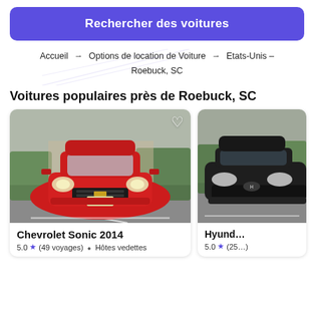Rechercher des voitures
Accueil → Options de location de Voiture → Etats-Unis – Roebuck, SC
Voitures populaires près de Roebuck, SC
[Figure (photo): Front view of a red Chevrolet Sonic 2014 parked in a parking lot]
Chevrolet Sonic 2014
5.0 ★ (49 voyages)  ⬥  Hôtes vedettes
[Figure (photo): Partial front view of a dark-colored Hyundai vehicle]
Hyund…
5.0 ★ (25…)